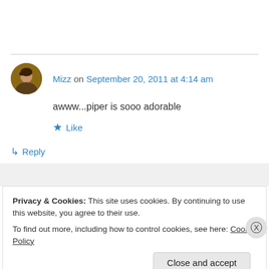Mizz on September 20, 2011 at 4:14 am
awww...piper is sooo adorable
★ Like
↳ Reply
Privacy & Cookies: This site uses cookies. By continuing to use this website, you agree to their use.
To find out more, including how to control cookies, see here: Cookie Policy
Close and accept